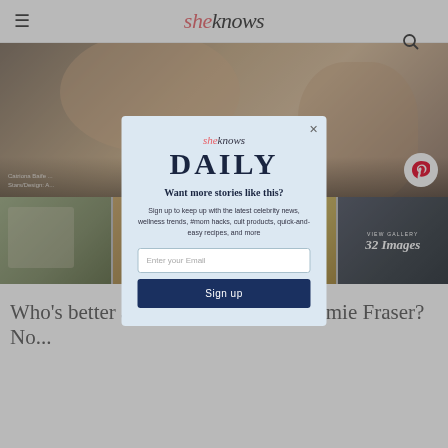sheknows
[Figure (photo): Hero image of a couple in an intimate embrace, warm toned, partially clothed, with a Pinterest share button overlay]
Catriona Baife ... Stars/Design: A...
[Figure (photo): Thumbnail strip of four images: woman in white dress in forest, brown/amber toned image, golden colored image, dark view gallery panel showing 32 Images]
VIEW GALLERY
32 Images
[Figure (screenshot): SheKnows Daily newsletter signup modal overlay with email input and Sign up button]
Who's better at sex than Claire and Jamie Fraser? No...